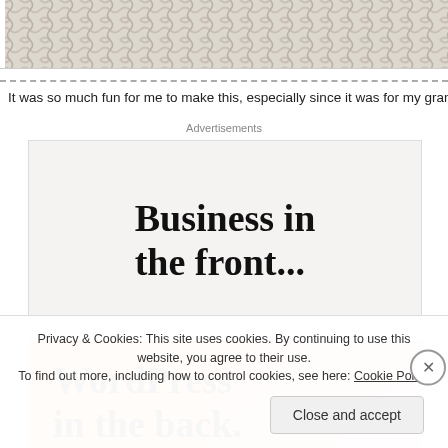[Figure (photo): Top strip showing a woven/textile pattern in beige/cream tones]
It was so much fun for me to make this, especially since it was for my grandda
Advertisements
[Figure (infographic): WordPress advertisement: top half shows 'Business in the front...' on light beige background; bottom half shows 'WordPress in the back.' on colorful gradient background with orange/pink/purple blobs and WordPress logo at bottom]
Privacy & Cookies: This site uses cookies. By continuing to use this website, you agree to their use.
To find out more, including how to control cookies, see here: Cookie Policy